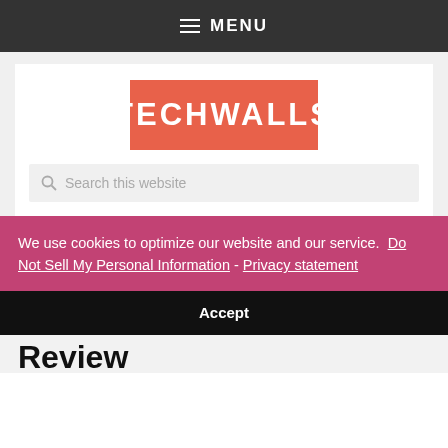≡ MENU
[Figure (logo): TechWalls logo: orange/coral rectangle with white bold text TECHWALLS]
Search this website
We use cookies to optimize our website and our service.  Do Not Sell My Personal Information -  Privacy statement
Accept
Review